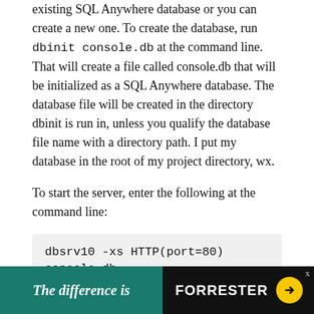existing SQL Anywhere database or you can create a new one. To create the database, run dbinit console.db at the command line. That will create a file called console.db that will be initialized as a SQL Anywhere database. The database file will be created in the directory dbinit is run in, unless you qualify the database file name with a directory path. I put my database in the root of my project directory, wx.
To start the server, enter the following at the command line:
dbsrv10 -xs HTTP(port=80) console.db
This will start the database server. Database applications will be able to connect the database, assum... just like th... DL
[Figure (other): Advertisement overlay: green panel with italic text 'The difference is' and black panel with 'FORRESTER' logo and yellow arrow button, with close 'x' button]